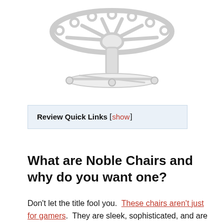[Figure (photo): Product photo of a Noble Chair shown from above — white/light gray chair with a circular ring design, viewed top-down, showing the circular armrest frame and central stem on a white background.]
Review Quick Links [show]
What are Noble Chairs and why do you want one?
Don't let the title fool you.  These chairs aren't just for gamers.  They are sleek, sophisticated, and are made with pride in mind.  Pride of the company, and pride of the customer. These chairs are German